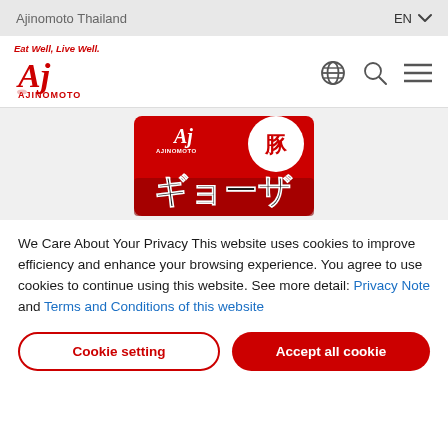Ajinomoto Thailand   EN
[Figure (logo): Ajinomoto logo with tagline 'Eat Well, Live Well.' in red, along with globe, search and menu icons]
[Figure (photo): Ajinomoto product package — red gyoza (pork dumplings) packaging with Japanese text and Ajinomoto logo]
We Care About Your Privacy This website uses cookies to improve efficiency and enhance your browsing experience. You agree to use cookies to continue using this website. See more detail: Privacy Note and Terms and Conditions of this website
Cookie setting   Accept all cookie